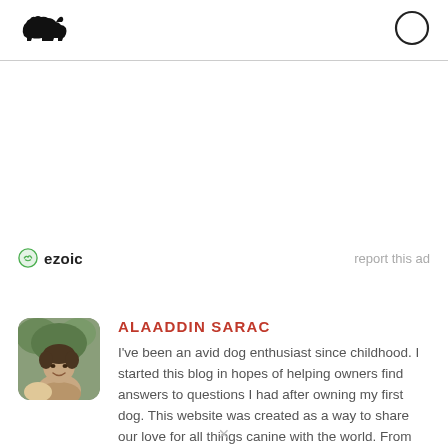[Figure (logo): Dog silhouette icon (black)]
[Figure (other): Circle outline icon (top right)]
[Figure (other): Ezoic badge with green shield icon and bold 'ezoic' text]
report this ad
[Figure (photo): Circular/rounded photo of Alaaddin Sarac, a man smiling with a dog outdoors]
ALAADDIN SARAC
I've been an avid dog enthusiast since childhood. I started this blog in hopes of helping owners find answers to questions I had after owning my first dog. This website was created as a way to share our love for all things canine with the world. From